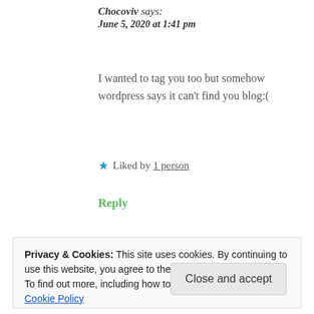Chocoviv says:
June 5, 2020 at 1:41 pm
I wanted to tag you too but somehow wordpress says it can't find you blog:(
★ Liked by 1 person
Reply
A blog with a little bit of
Privacy & Cookies: This site uses cookies. By continuing to use this website, you agree to their use.
To find out more, including how to control cookies, see here: Cookie Policy
Close and accept